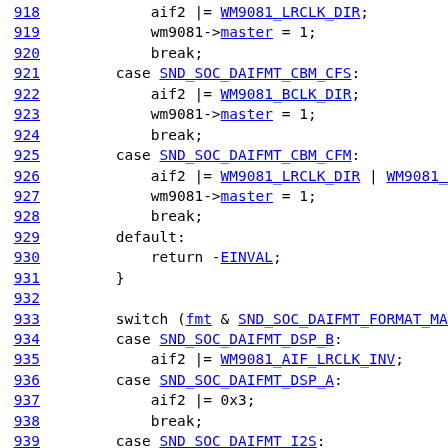Source code listing lines 918-942, C kernel driver code for WM9081 audio codec DAI format configuration.
918: aif2 |= WM9081_LRCLK_DIR;
919: wm9081->master = 1;
920: break;
921: case SND_SOC_DAIFMT_CBM_CFS:
922: aif2 |= WM9081_BCLK_DIR;
923: wm9081->master = 1;
924: break;
925: case SND_SOC_DAIFMT_CBM_CFM:
926: aif2 |= WM9081_LRCLK_DIR | WM9081_BCLK
927: wm9081->master = 1;
928: break;
929: default:
930: return -EINVAL;
931: }
932: (blank)
933: switch (fmt & SND_SOC_DAIFMT_FORMAT_MASK)
934: case SND_SOC_DAIFMT_DSP_B:
935: aif2 |= WM9081_AIF_LRCLK_INV;
936: case SND_SOC_DAIFMT_DSP_A:
937: aif2 |= 0x3;
938: break;
939: case SND_SOC_DAIFMT_I2S:
940: aif2 |= 0x2;
941: break;
942: case SND_SOC_DAIFMT_RIGHT_J: